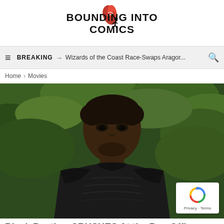[Figure (logo): Bounding Into Comics logo with red bird/rocket icon and bold black text]
≡  BREAKING → Wizards of the Coast Race-Swaps Aragor...  🔍
Home > Movies
[Figure (photo): Close-up photo of actor (Chadwick Boseman) in Black Panther costume against green foliage background]
Black Panther CRUSHES At the Box Offic...